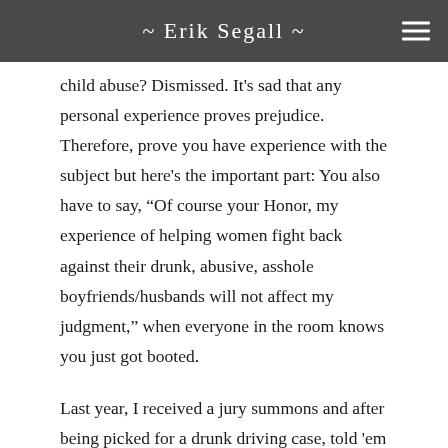~ Erik Segall ~
child abuse?  Dismissed.  It's sad that any personal experience proves prejudice.  Therefore, prove you have experience with the subject but here's the important part:  You also have to say, “Of course your Honor, my experience of helping women fight back against their drunk, abusive, asshole boyfriends/husbands will not affect my judgment,” when everyone in the room knows you just got booted.
Last year, I received a jury summons and after being picked for a drunk driving case, told 'em I was a bartender.  Dismissed.  I’m a pro at getting booted, even when I want to stay, but a visit to the court